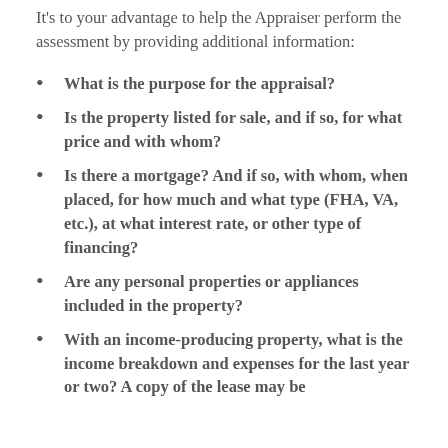It's to your advantage to help the Appraiser perform the assessment by providing additional information:
What is the purpose for the appraisal?
Is the property listed for sale, and if so, for what price and with whom?
Is there a mortgage? And if so, with whom, when placed, for how much and what type (FHA, VA, etc.), at what interest rate, or other type of financing?
Are any personal properties or appliances included in the property?
With an income-producing property, what is the income breakdown and expenses for the last year or two? A copy of the lease may be